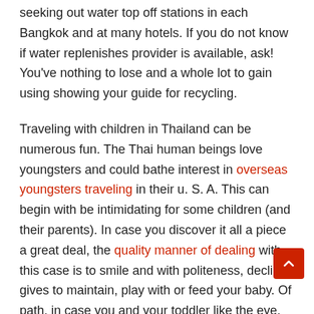seeking out water top off stations in each Bangkok and at many hotels. If you do not know if water replenishes provider is available, ask! You've nothing to lose and a whole lot to gain using showing your guide for recycling.
Traveling with children in Thailand can be numerous fun. The Thai human beings love youngsters and could bathe interest in overseas youngsters traveling in their u. S. A. This can begin with be intimidating for some children (and their parents). In case you discover it all a piece a great deal, the quality manner of dealing with this case is to smile and with politeness, decline gives to maintain, play with or feed your baby. Of path, in case you and your toddler like the eye, you may find immediate playmates to maintain your children entertained and provide you with a bit of loose time.